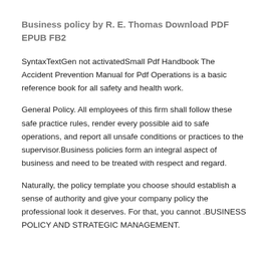Business policy by R. E. Thomas Download PDF EPUB FB2
SyntaxTextGen not activatedSmall Pdf Handbook The Accident Prevention Manual for Pdf Operations is a basic reference book for all safety and health work.
General Policy. All employees of this firm shall follow these safe practice rules, render every possible aid to safe operations, and report all unsafe conditions or practices to the supervisor.Business policies form an integral aspect of business and need to be treated with respect and regard.
Naturally, the policy template you choose should establish a sense of authority and give your company policy the professional look it deserves. For that, you cannot .BUSINESS POLICY AND STRATEGIC MANAGEMENT.